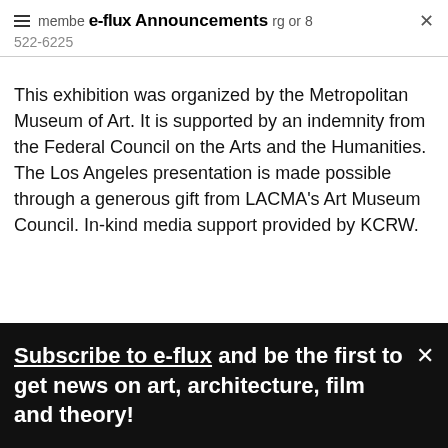e-flux Announcements
522-6225
This exhibition was organized by the Metropolitan Museum of Art. It is supported by an indemnity from the Federal Council on the Arts and the Humanities. The Los Angeles presentation is made possible through a generous gift from LACMA's Art Museum Council. In-kind media support provided by KCRW.
[Figure (logo): LACMA logo in red with underline bars]
Subscribe to e-flux and be the first to get news on art, architecture, film and theory!